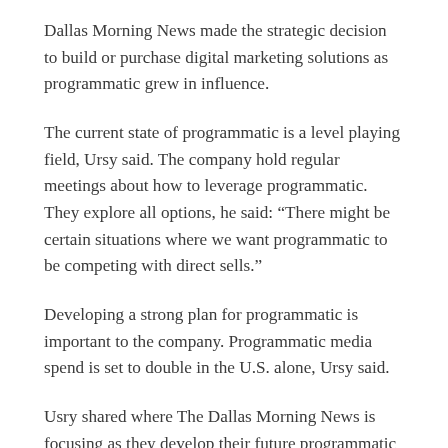Dallas Morning News made the strategic decision to build or purchase digital marketing solutions as programmatic grew in influence.
The current state of programmatic is a level playing field, Ursy said. The company hold regular meetings about how to leverage programmatic. They explore all options, he said: “There might be certain situations where we want programmatic to be competing with direct sells.”
Developing a strong plan for programmatic is important to the company. Programmatic media spend is set to double in the U.S. alone, Ursy said.
Usry shared where The Dallas Morning News is focusing as they develop their future programmatic strategy: